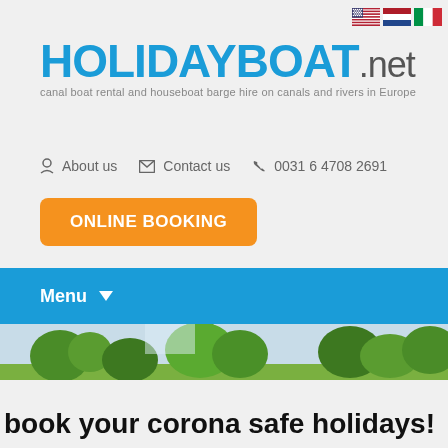[Figure (other): Three national flag icons (US, Netherlands, Italy) in top right corner]
HOLIDAYBOAT.net
canal boat rental and houseboat barge hire on canals and rivers in Europe
About us   Contact us   0031 6 4708 2691
ONLINE BOOKING
Menu
[Figure (photo): Nature scenic photo strip showing green trees against a light sky]
book your corona safe holidays!